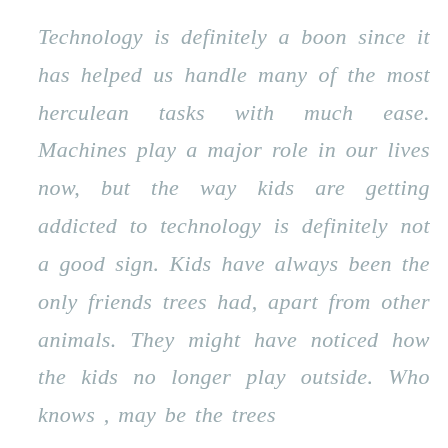Technology is definitely a boon since it has helped us handle many of the most herculean tasks with much ease. Machines play a major role in our lives now, but the way kids are getting addicted to technology is definitely not a good sign. Kids have always been the only friends trees had, apart from other animals. They might have noticed how the kids no longer play outside. Who knows , may be the trees